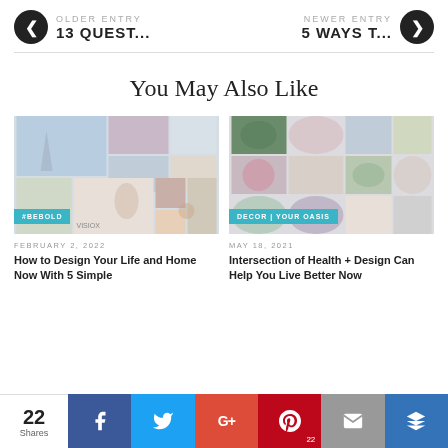OLDER ENTRY 13 QUEST... / NEWER ENTRY 5 WAYS T...
You May Also Like
[Figure (photo): Mosaic of lifestyle photos with #BEBOLD badge, dated February 2, 2022]
FEBRUARY 2, 2022
How to Design Your Life and Home Now With 5 Simple
[Figure (photo): Mosaic of home decor photos with DECOR | YOUR OASIS badge, dated May 18, 2021]
MAY 18, 2021
Intersection of Health + Design Can Help You Live Better Now
22 Shares | Facebook | Twitter | Google+ | Pinterest 22 | Email | Crown